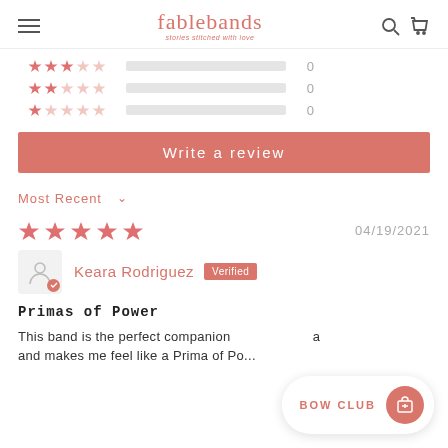fablebands — stories stitched with love
[Figure (infographic): Star rating bars: 3-star row with empty bar count 0, 2-star row with empty bar count 0, 1-star row with empty bar count 0]
Write a review
Most Recent ▼
04/19/2021
[Figure (infographic): 5 filled pink stars]
Keara Rodriguez  Verified
Primas of Power
This band is the perfect companion and makes me feel like a Prima of Po...